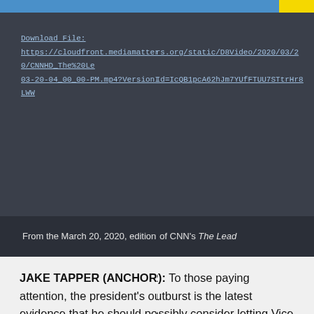[Figure (screenshot): Dark grey video player area with a download file link displayed in monospace text. Link reads: Download File: https://cloudfront.mediamatters.org/static/D8Video/2020/03/20/CNNHD_The%20Le... 03-20-04_00_00-PM.mp4?VersionId=IcQB1pcA62hJm7YUfFTUU7STtrHr8LWW]
From the March 20, 2020, edition of CNN's The Lead
JAKE TAPPER (ANCHOR): To those paying attention, the president's outburst is the latest evidence that he should possibly consider letting Vice President Pence and Dr. Fauci and others leading the coronavirus task force at the White House take the helm at the daily press conferences. I don't want to eat up too much time in the show today discussing